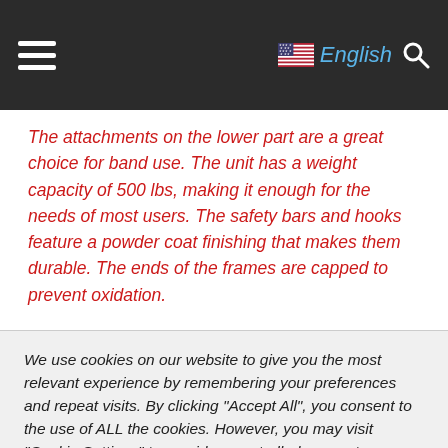≡  🇺🇸 English 🔍
The attachments on the lower part are a great choice for band use. The unit has a weight capacity of 500 lbs, making it enough for the needs of most users. The safety bars and hooks feature a powder coat finishing that makes them durable. The ends of the frames are capped to prevent oxidation.
We use cookies on our website to give you the most relevant experience by remembering your preferences and repeat visits. By clicking "Accept All", you consent to the use of ALL the cookies. However, you may visit "Cookie Settings" to provide a controlled consent.